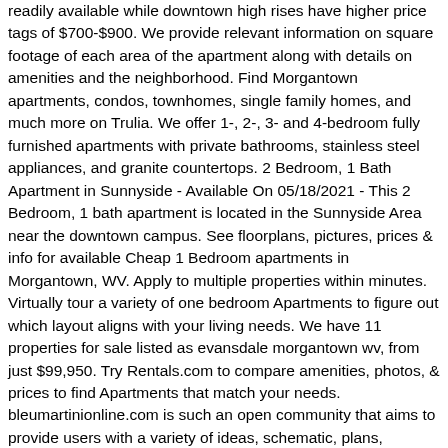readily available while downtown high rises have higher price tags of $700-$900. We provide relevant information on square footage of each area of the apartment along with details on amenities and the neighborhood. Find Morgantown apartments, condos, townhomes, single family homes, and much more on Trulia. We offer 1-, 2-, 3- and 4-bedroom fully furnished apartments with private bathrooms, stainless steel appliances, and granite countertops. 2 Bedroom, 1 Bath Apartment in Sunnyside - Available On 05/18/2021 - This 2 Bedroom, 1 bath apartment is located in the Sunnyside Area near the downtown campus. See floorplans, pictures, prices & info for available Cheap 1 Bedroom apartments in Morgantown, WV. Apply to multiple properties within minutes. Virtually tour a variety of one bedroom Apartments to figure out which layout aligns with your living needs. We have 11 properties for sale listed as evansdale morgantown wv, from just $99,950. Try Rentals.com to compare amenities, photos, & prices to find Apartments that match your needs. bleumartinionline.com is such an open community that aims to provide users with a variety of ideas, schematic, plans, pictures and more. Morgantown Rents > 1 bedroom 136 rentals, 942 Chestnut Ridge Road, Morgantown, WV 26505 Located next to Ruby, Evansdale Campus, Football Stadium, and Suncrest Town CenterRent - $950 per month, available 11/1/20202 bedroom / 2 bathroom - 1100 square feet with two deckssmall pets okIncluded: Central heat and AC, washer/dryer in unit, dishwasher, refrigerator, 2